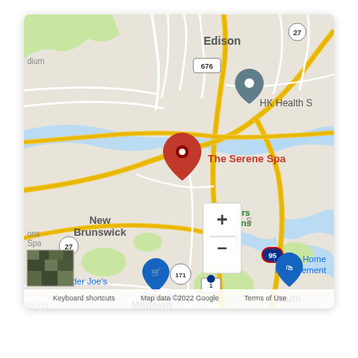[Figure (map): Google Maps screenshot showing area around New Brunswick, NJ. A red location pin marks 'The Serene Spa'. Nearby landmarks include Edison (north), HK Health S (northeast), Rutgers Gardens (center), New Brunswick (west), Milltown (south), South River (southeast), Lowe's Home Improvement (center-south), der Joe's (Trader Joe's, left), a Rutgers Gardens green pin. Roads include Route 27, Route 1, Route 95, Route 676, Route 171. Map controls show + and - zoom buttons. Bottom shows satellite thumbnail, 'Keyboard shortcuts', 'Map data ©2022 Google', 'Terms of Use'.]